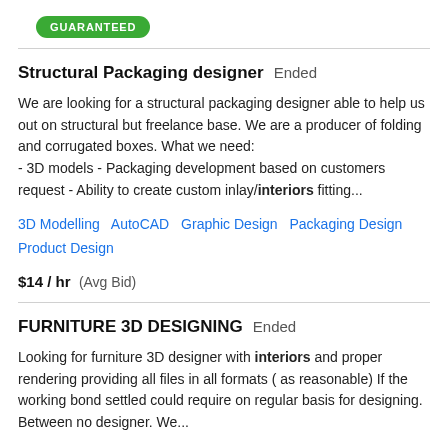[Figure (other): Green rounded pill button with text GUARANTEED]
Structural Packaging designer  Ended
We are looking for a structural packaging designer able to help us out on structural but freelance base. We are a producer of folding and corrugated boxes. What we need: - 3D models - Packaging development based on customers request - Ability to create custom inlay/interiors fitting...
3D Modelling   AutoCAD   Graphic Design   Packaging Design   Product Design
$14 / hr  (Avg Bid)
FURNITURE 3D DESIGNING  Ended
Looking for furniture 3D designer with interiors and proper rendering providing all files in all formats ( as reasonable) If the working bond settled could require on regular basis for designing. Between no designer. We...